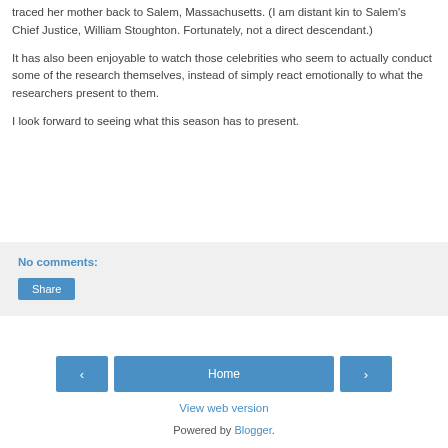traced her mother back to Salem, Massachusetts. (I am distant kin to Salem's Chief Justice, William Stoughton. Fortunately, not a direct descendant.)
It has also been enjoyable to watch those celebrities who seem to actually conduct some of the research themselves, instead of simply react emotionally to what the researchers present to them.
I look forward to seeing what this season has to present.
No comments:
Share
‹
Home
›
View web version
Powered by Blogger.